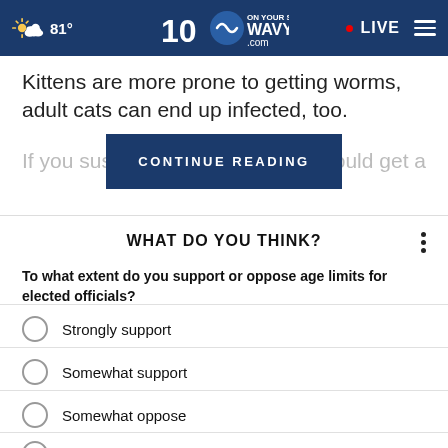81° | WAVY.com On Your Side | LIVE
Kittens are more prone to getting worms, adult cats can end up infected, too.
If you suspect ... should get a
CONTINUE READING
WHAT DO YOU THINK?
To what extent do you support or oppose age limits for elected officials?
Strongly support
Somewhat support
Somewhat oppose
Strongly oppose
Other (specify)